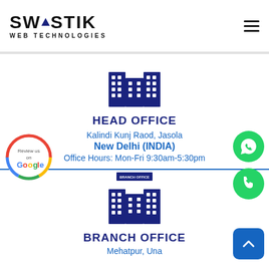[Figure (logo): Swastik Web Technologies logo with triangle in S-W-A-S-T-I-K text and hamburger menu icon]
HEAD OFFICE
Kalindi Kunj Raod, Jasola
New Delhi (INDIA)
Office Hours: Mon-Fri 9:30am-5:30pm
[Figure (illustration): Google Review us on Google badge circle]
[Figure (illustration): WhatsApp floating button]
[Figure (illustration): Phone call floating button]
BRANCH OFFICE
Mehatpur, Una
[Figure (illustration): Back to top button]